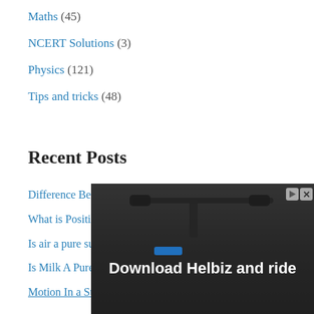Maths (45)
NCERT Solutions (3)
Physics (121)
Tips and tricks (48)
Recent Posts
Difference Between Metal And Non-Metal
What is Position Time Graph?
Is air a pure substance or a mixture?
Is Milk A Pure Substance or a Mixture?
Motion In a Straight Line class 11 Notes
[Figure (screenshot): Advertisement banner for Helbiz with text 'Download Helbiz and ride' showing a scooter image with close/ad controls]